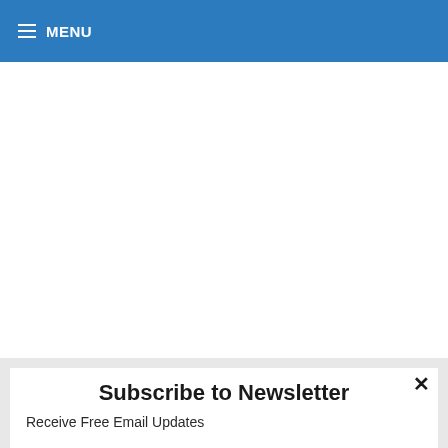≡ MENU
Subscribe to Newsletter
Receive Free Email Updates